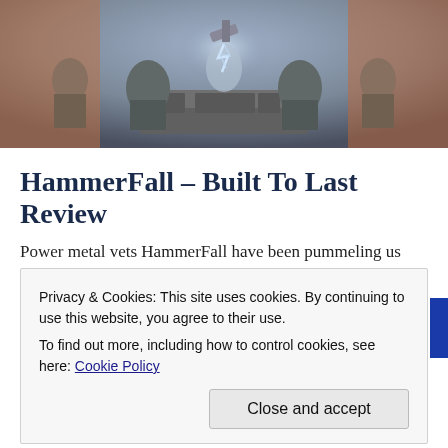[Figure (illustration): Album artwork for HammerFall Built To Last — fantasy/metal style illustration showing stone throne with figures, magical effects, dramatic sky background in oranges, browns and blues.]
HammerFall – Built To Last Review
Power metal vets HammerFall have been pummeling us with their, um, hammers since the turn of the century. Built to …
Privacy & Cookies: This site uses cookies. By continuing to use this website, you agree to their use.
To find out more, including how to control cookies, see here: Cookie Policy

Close and accept